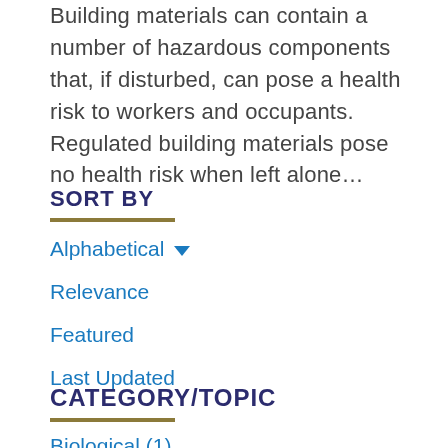Building materials can contain a number of hazardous components that, if disturbed, can pose a health risk to workers and occupants. Regulated building materials pose no health risk when left alone...
SORT BY
Alphabetical ▾
Relevance
Featured
Last Updated
CATEGORY/TOPIC
Biological (1)